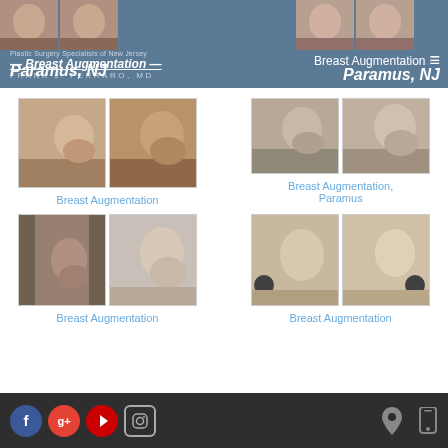Plastic Surgery Specialists of New Jersey — Breast Augmentation — FRANK J. FERRARO, MD — Paramus, NJ | Breast Augmentation — Paramus, NJ
[Figure (photo): Before and after breast augmentation photos - lateral view, pair 1]
Breast Augmentation
[Figure (photo): Before and after breast augmentation photos - lateral view, pair 2, Paramus location]
Breast Augmentation, Paramus
[Figure (photo): Before and after breast augmentation photos - lateral view, pair 3]
Breast Augmentation
[Figure (photo): Before and after breast augmentation photos - lateral view, pair 4]
Breast Augmentation
Facebook, Google+, YouTube, Instagram social icons; Location and mobile icons